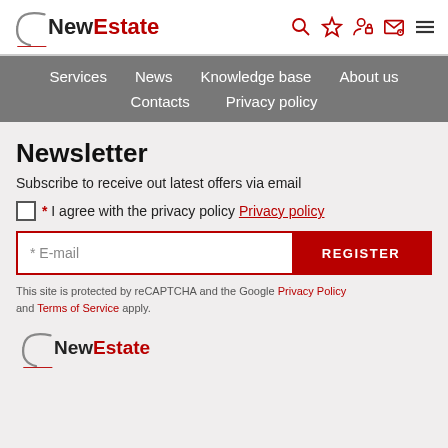[Figure (logo): NewEstate logo with arc graphic, top header]
[Figure (infographic): Header navigation icons: search, star, person-lock, envelope, hamburger menu]
Services   News   Knowledge base   About us   Contacts   Privacy policy
Newsletter
Subscribe to receive out latest offers via email
* I agree with the privacy policy Privacy policy
* E-mail    REGISTER
This site is protected by reCAPTCHA and the Google Privacy Policy and Terms of Service apply.
[Figure (logo): NewEstate logo with arc graphic, footer]